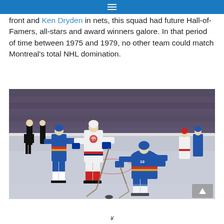☰
front and Ken Dryden in nets, this squad had future Hall-of-Famers, all-stars and award winners galore. In that period of time between 1975 and 1979, no other team could match Montreal's total NHL domination.
[Figure (photo): Ice hockey game action photo showing a Montreal Canadiens player in white jersey number 10 skating with the puck, defended by players in blue New York Islanders jerseys, with a referee and crowd visible in the background.]